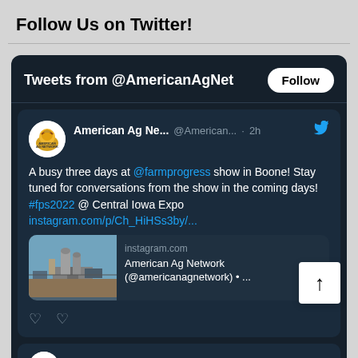Follow Us on Twitter!
[Figure (screenshot): Embedded Twitter widget showing tweets from @AmericanAgNet. First tweet reads: A busy three days at @farmprogress show in Boone! Stay tuned for conversations from the show in the coming days! #fps2022 @ Central Iowa Expo instagram.com/p/Ch_HiHSs3by/... with a link preview showing instagram.com and 'American Ag Network (@americanagnetwork) • ...' A second tweet strip is partially visible at the bottom.]